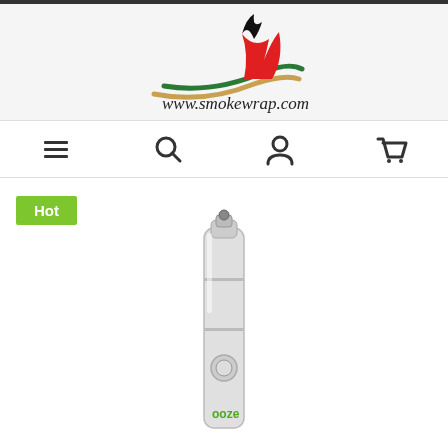[Figure (logo): Smokewrap.com logo with stylized flame in red, black, green, and tan colors, with www.smokewrap.com text below]
[Figure (infographic): Navigation bar with hamburger menu, search, user account, and cart icons]
Hot
[Figure (photo): Silver Ooze vape pen battery product photo on white background]